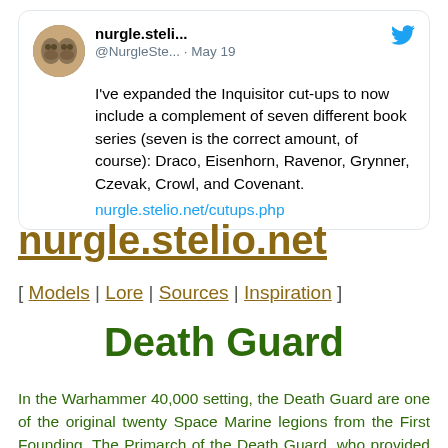[Figure (screenshot): Tweet from nurgle.steli... (@NurgleSte...) dated May 19 with Twitter bird icon and avatar showing two skulls. Tweet text: I've expanded the Inquisitor cut-ups to now include a complement of seven different book series (seven is the correct amount, of course): Draco, Eisenhorn, Ravenor, Grynner, Czevak, Crowl, and Covenant. nurgle.stelio.net/cutups.php]
nurgle.stelio.net
[ Models | Lore | Sources | Inspiration ]
Death Guard
In the Warhammer 40,000 setting, the Death Guard are one of the original twenty Space Marine legions from the First Founding. The Primarch of the Death Guard, who provided their genetic template, is Mortarion. During the Horus